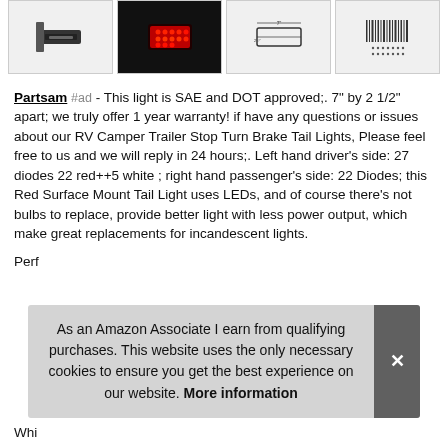[Figure (photo): Four product thumbnail images in a horizontal strip: a bracket/mount hardware piece, a red LED tail light glowing, a line diagram of the light, and a barcode/spec sheet image.]
Partsam #ad - This light is SAE and DOT approved;. 7" by 2 1/2" apart; we truly offer 1 year warranty! if have any questions or issues about our RV Camper Trailer Stop Turn Brake Tail Lights, Please feel free to us and we will reply in 24 hours;. Left hand driver's side: 27 diodes 22 red++5 white ; right hand passenger's side: 22 Diodes; this Red Surface Mount Tail Light uses LEDs, and of course there's not bulbs to replace, provide better light with less power output, which make great replacements for incandescent lights.
Perf
As an Amazon Associate I earn from qualifying purchases. This website uses the only necessary cookies to ensure you get the best experience on our website. More information
Whi